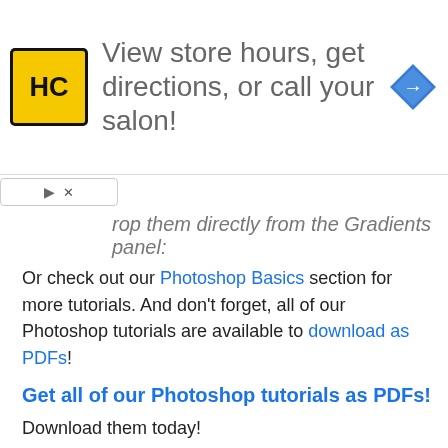[Figure (infographic): Advertisement banner: HC salon logo (yellow square with HC text), text 'View store hours, get directions, or call your salon!', blue diamond navigation icon on the right.]
...rop them directly from the Gradients panel:
Or check out our Photoshop Basics section for more tutorials. And don't forget, all of our Photoshop tutorials are available to download as PDFs!
Get all of our Photoshop tutorials as PDFs!
Download them today!
Links
YouTube Channel   Contact Us   Member Login